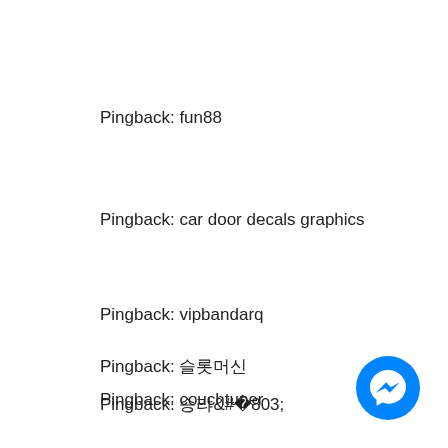Pingback: fun88
Pingback: car door decals graphics
Pingback: vipbandarq
Pingback: 슬롯머신
Pingback: couchtuner
[Figure (logo): Blue circular Facebook Messenger icon button in the bottom right corner]